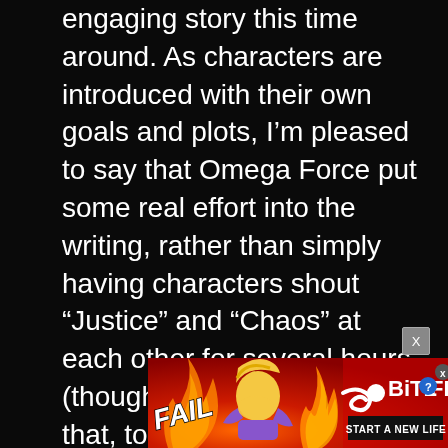engaging story this time around. As characters are introduced with their own goals and plots, I'm pleased to say that Omega Force put some real effort into the writing, rather than simply having characters shout “Justice” and “Chaos” at each other for several hours (though there’s plenty of that, too). It’s not an award-winning narrative that will change lives, but the story is quite unique and fun this time around, which deserves a pat on the head.
[Figure (illustration): BitLife advertisement banner with 'FAIL' text, cartoon character covering face, flames, BitLife logo with question mark and X icons, and 'START A NEW LIFE' button on red fiery background]